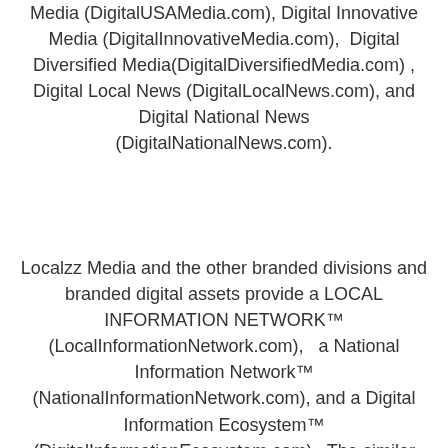Media (DigitalUSAMedia.com), Digital Innovative Media (DigitalInnovativeMedia.com), Digital Diversified Media(DigitalDiversifiedMedia.com) , Digital Local News (DigitalLocalNews.com), and Digital National News (DigitalNationalNews.com).
Localzz Media and the other branded divisions and branded digital assets provide a LOCAL INFORMATION NETWORK™ (LocalInformationNetwork.com), a National Information Network™ (NationalInformationNetwork.com), and a Digital Information Ecosystem™ (DigitalInformationEcosystem.com). The similar branded divisions and individual